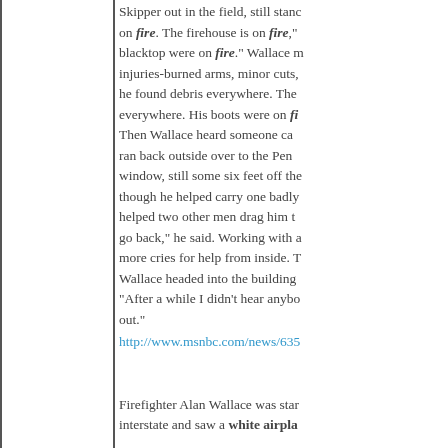Skipper out in the field, still stanc on fire. The firehouse is on fire," blactop were on fire." Wallace m injuries-burned arms, minor cuts, he found debris everywhere. The everywhere. His boots were on fi Then Wallace heard someone ca ran back outside over to the Pen window, still some six feet off the though he helped carry one badly helped two other men drag him t go back," he said. Working with a more cries for help from inside. T Wallace headed into the building "After a while I didn't hear anybo out."
http://www.msnbc.com/news/635
Firefighter Alan Wallace was star interstate and saw a white airpla